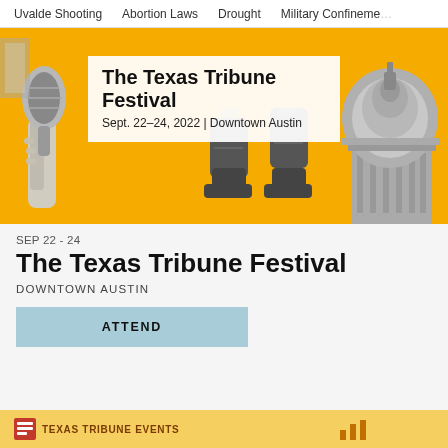Uvalde Shooting    Abortion Laws    Drought    Military Confinement
[Figure (photo): The Texas Tribune Festival promotional banner with yellow background, showing a hand holding a microphone on the left, cowboy boots in the center, and the Texas State Capitol dome on the right. White box overlay reads: The Texas Tribune Festival, Sept. 22–24, 2022 | Downtown Austin]
SEP 22 - 24
The Texas Tribune Festival
DOWNTOWN AUSTIN
ATTEND
[Figure (logo): Texas Tribune Events logo on yellow background at the bottom of the page]